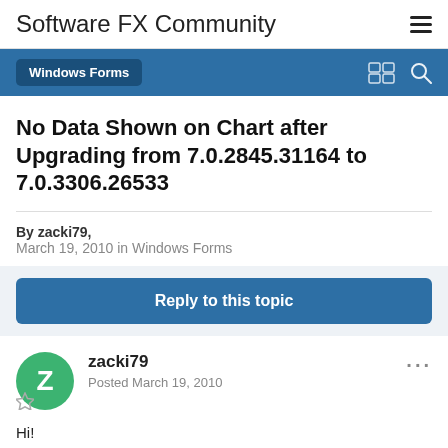Software FX Community
Windows Forms
No Data Shown on Chart after Upgrading from 7.0.2845.31164 to 7.0.3306.26533
By zacki79, March 19, 2010 in Windows Forms
Reply to this topic
zacki79 Posted March 19, 2010
Hi!